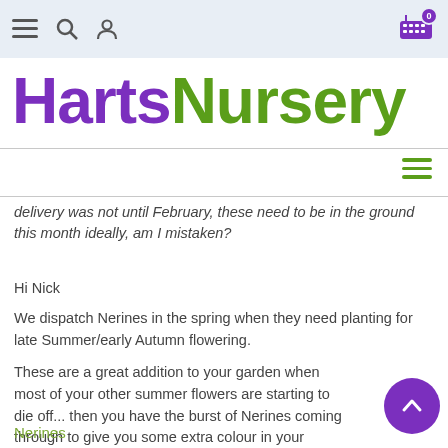HartsNursery — navigation bar with menu, search, profile icons and cart (0)
HartsNursery
delivery was not until February, these need to be in the ground this month ideally, am I mistaken?
Hi Nick
We dispatch Nerines in the spring when they need planting for late Summer/early Autumn flowering.
These are a great addition to your garden when most of your other summer flowers are starting to die off... then you have the burst of Nerines coming through to give you some extra colour in your garden as the autumn months draw in.
Nerines